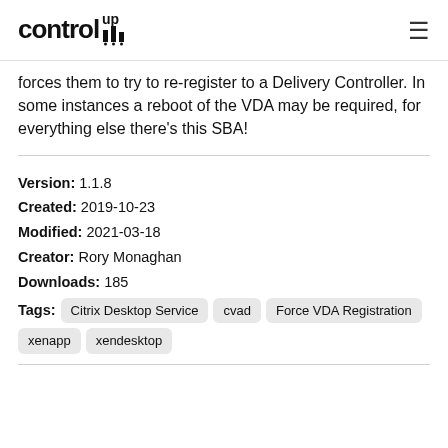controlup
forces them to try to re-register to a Delivery Controller. In some instances a reboot of the VDA may be required, for everything else there's this SBA!
Version: 1.1.8
Created: 2019-10-23
Modified: 2021-03-18
Creator: Rory Monaghan
Downloads: 185
Tags: Citrix Desktop Service  cvad  Force VDA Registration  xenapp  xendesktop